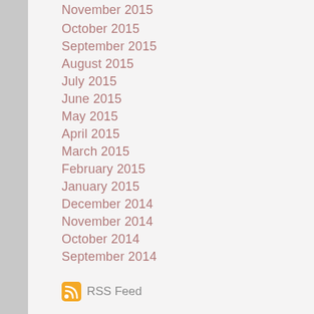November 2015
October 2015
September 2015
August 2015
July 2015
June 2015
May 2015
April 2015
March 2015
February 2015
January 2015
December 2014
November 2014
October 2014
September 2014
RSS Feed